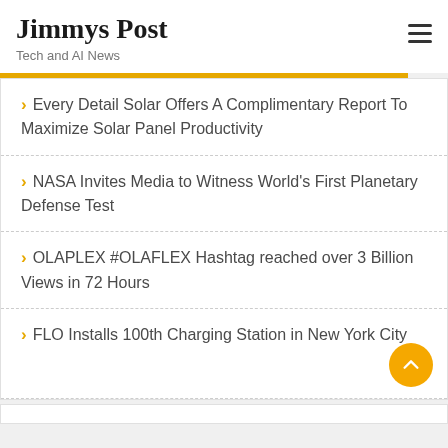Jimmys Post
Tech and AI News
Every Detail Solar Offers A Complimentary Report To Maximize Solar Panel Productivity
NASA Invites Media to Witness World's First Planetary Defense Test
OLAPLEX #OLAFLEX Hashtag reached over 3 Billion Views in 72 Hours
FLO Installs 100th Charging Station in New York City